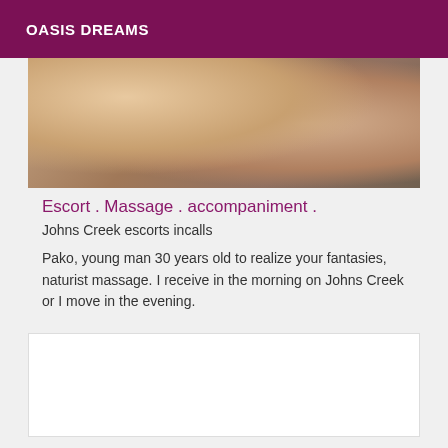OASIS DREAMS
[Figure (photo): Partial body photo of a person, cropped showing torso area with visible tattoo on right arm]
Escort . Massage . accompaniment .
Johns Creek escorts incalls
Pako, young man 30 years old to realize your fantasies, naturist massage. I receive in the morning on Johns Creek or I move in the evening.